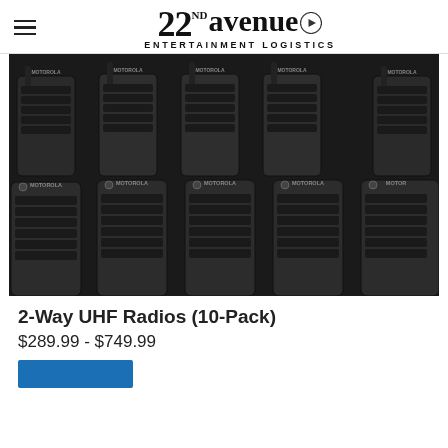22nd avenue ENTERTAINMENT LOGISTICS
[Figure (photo): Ten Motorola 2-way UHF walkie-talkie radios arranged in two rows of five on a dark background.]
2-Way UHF Radios (10-Pack)
$289.99 - $749.99